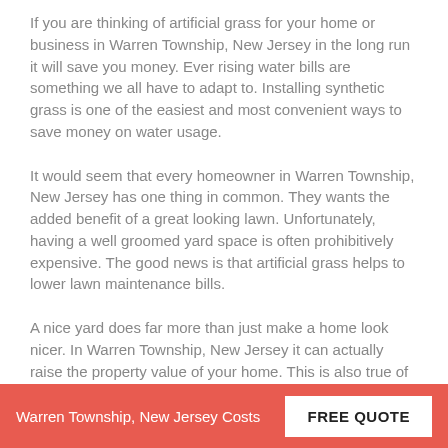If you are thinking of artificial grass for your home or business in Warren Township, New Jersey in the long run it will save you money. Ever rising water bills are something we all have to adapt to. Installing synthetic grass is one of the easiest and most convenient ways to save money on water usage.
It would seem that every homeowner in Warren Township, New Jersey has one thing in common. They wants the added benefit of a great looking lawn. Unfortunately, having a well groomed yard space is often prohibitively expensive. The good news is that artificial grass helps to lower lawn maintenance bills.
A nice yard does far more than just make a home look nicer. In Warren Township, New Jersey it can actually raise the property value of your home. This is also true of any building space that can provide room enough for landscaping. However, if you have a natural grass, it can also increase the expense of taking care of your yard. A great way to cut these costs is by using artificial turf. While many think of that item in terms of tacky plastic and false
Warren Township, New Jersey Costs  FREE QUOTE